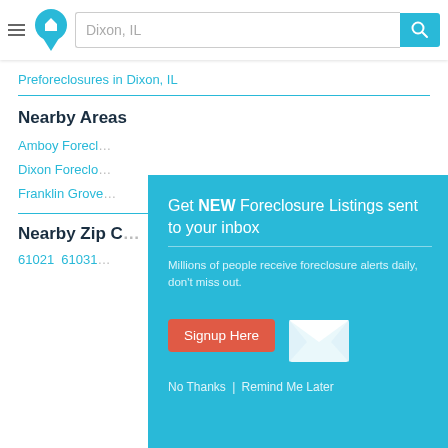Dixon, IL
Preforeclosures in Dixon, IL
Nearby Areas
Amboy Forecl...
Dixon Foreclo...
Franklin Grove...
Nearby Zip C...
61021  61031
[Figure (infographic): Modal popup overlay on teal background. Headline: Get NEW Foreclosure Listings sent to your inbox. Subtext: Millions of people receive foreclosure alerts daily, don't miss out. Button: Signup Here. Links: No Thanks | Remind Me Later. White envelope icon on the right.]